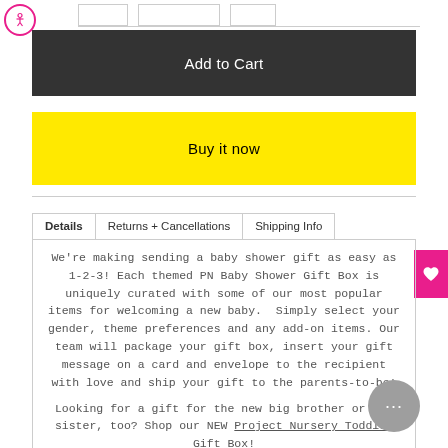[Figure (other): Accessibility icon - circular badge with person symbol in pink border]
Add to Cart
Buy it now
Details    Returns + Cancellations    Shipping Info
We're making sending a baby shower gift as easy as 1-2-3! Each themed PN Baby Shower Gift Box is uniquely curated with some of our most popular items for welcoming a new baby.  Simply select your gender, theme preferences and any add-on items. Our team will package your gift box, insert your gift message on a card and envelope to the recipient with love and ship your gift to the parents-to-be!
Looking for a gift for the new big brother or big sister, too? Shop our NEW Project Nursery Toddler Gift Box!